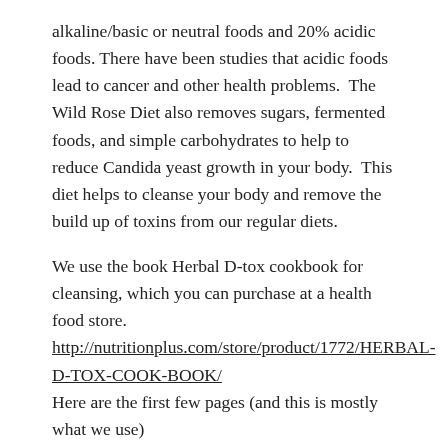alkaline/basic or neutral foods and 20% acidic foods. There have been studies that acidic foods lead to cancer and other health problems.  The Wild Rose Diet also removes sugars, fermented foods, and simple carbohydrates to help to reduce Candida yeast growth in your body.  This diet helps to cleanse your body and remove the build up of toxins from our regular diets.
We use the book Herbal D-tox cookbook for cleansing, which you can purchase at a health food store. http://nutritionplus.com/store/product/1772/HERBAL-D-TOX-COOK-BOOK/ Here are the first few pages (and this is mostly what we use) http://nhe.net/healthfoodstoressalt/salt2.pdf The book has many recipe ideas, but I found many of the recipes are not part of the 80% acceptable foods.